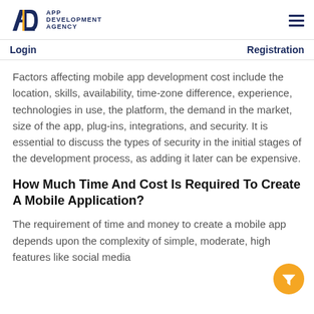APP DEVELOPMENT AGENCY
Login  Registration
Factors affecting mobile app development cost include the location, skills, availability, time-zone difference, experience, technologies in use, the platform, the demand in the market, size of the app, plug-ins, integrations, and security. It is essential to discuss the types of security in the initial stages of the development process, as adding it later can be expensive.
How Much Time And Cost Is Required To Create A Mobile Application?
The requirement of time and money to create a mobile app depends upon the complexity of simple, moderate, high features like social media